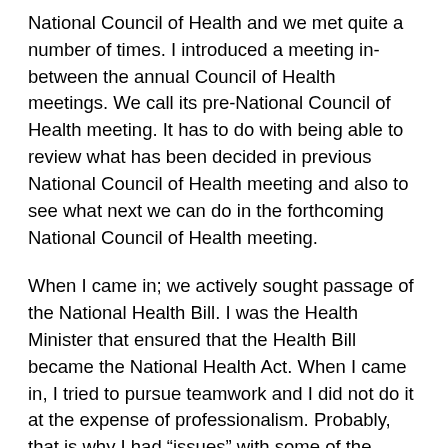National Council of Health and we met quite a number of times. I introduced a meeting in-between the annual Council of Health meetings. We call its pre-National Council of Health meeting. It has to do with being able to review what has been decided in previous National Council of Health meeting and also to see what next we can do in the forthcoming National Council of Health meeting.
When I came in; we actively sought passage of the National Health Bill. I was the Health Minister that ensured that the Health Bill became the National Health Act. When I came in, I tried to pursue teamwork and I did not do it at the expense of professionalism. Probably, that is why I had “issues” with some of the unions because some of them just wanted to carry on with business as usual. I believe that if a leader is not criticized by his followers, then, the person is not a leader because we know that if the society is working